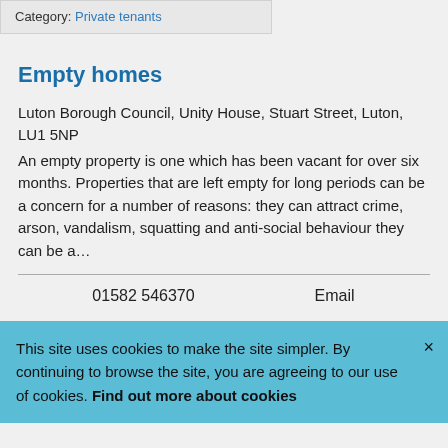Category: Private tenants
Empty homes
Luton Borough Council, Unity House, Stuart Street, Luton, LU1 5NP
An empty property is one which has been vacant for over six months. Properties that are left empty for long periods can be a concern for a number of reasons: they can attract crime, arson, vandalism, squatting and anti-social behaviour they can be a…
01582 546370     Email
This site uses cookies to make the site simpler. By continuing to browse the site, you are agreeing to our use of cookies. Find out more about cookies